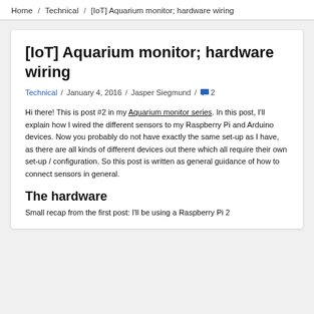Home / Technical / [IoT] Aquarium monitor; hardware wiring
[IoT] Aquarium monitor; hardware wiring
Technical / January 4, 2016 / Jasper Siegmund / 2
Hi there! This is post #2 in my Aquarium monitor series. In this post, I'll explain how I wired the different sensors to my Raspberry Pi and Arduino devices. Now you probably do not have exactly the same set-up as I have, as there are all kinds of different devices out there which all require their own set-up / configuration. So this post is written as general guidance of how to connect sensors in general.
The hardware
Small recap from the first post: I'll be using a Raspberry Pi 2